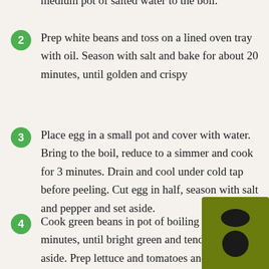medium pot of salted water to the boil.
2 Prep white beans and toss on a lined oven tray with oil. Season with salt and bake for about 20 minutes, until golden and crispy
3 Place egg in a small pot and cover with water. Bring to the boil, reduce to a simmer and cook for 3 minutes. Drain and cool under cold tap before peeling. Cut egg in half, season with salt and pepper and set aside.
4 Cook green beans in pot of boiling water for a minutes, until bright green and tender. Drain and aside. Prep lettuce and tomatoes and toss in a
[Figure (logo): Green square badge with dark oval and circle logo]